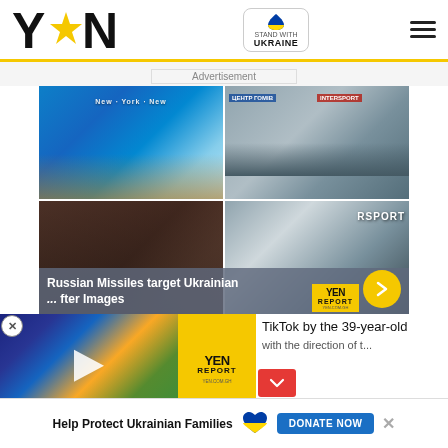[Figure (logo): YEN logo with star replacing letter A]
[Figure (logo): Stand with Ukraine badge with heart icon]
Advertisement
[Figure (photo): 4-panel image grid showing Russian missile damage to Ukrainian shopping mall - top left: modern blue glass shopping center, top right: parking lot with shopping mall stores, bottom left: burned and destroyed round building, bottom right: Intersport sign on damaged building]
Russian Missiles target Ukrainian ... fter Images
[Figure (screenshot): YEN Report video panel showing Accra Beautification Project video with play button]
[Figure (logo): YEN REPORT yellow badge]
TikTok by the 39-year-old
Help Protect Ukrainian Families
DONATE NOW